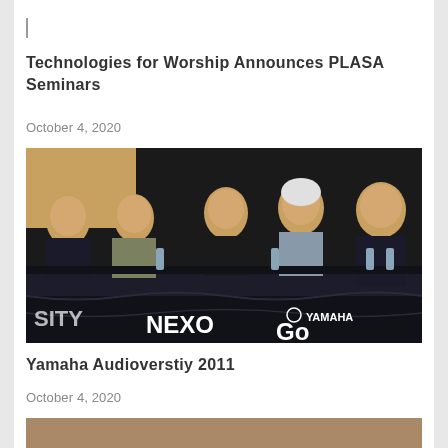|
Technologies for Worship Announces PLASA Seminars
October 4, 2020
[Figure (photo): Panel of five people seated at a table with a banner reading NEXO and YAMAHA GO in the foreground, in a dark conference hall setting.]
Yamaha Audioverstiy 2011
October 4, 2020
[Figure (photo): Partial view of a second photo appearing at the bottom of the page, cropped.]